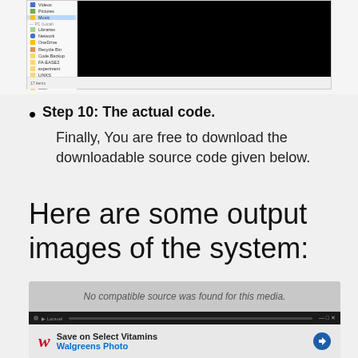[Figure (screenshot): Windows file explorer screenshot with a sidebar showing folders and a black main content area]
Step 10: The actual code. Finally, You are free to download the downloadable source code given below.
Here are some output images of the system:
[Figure (screenshot): Video player showing 'No compatible source was found for this media.' with controls and a Walgreens ad banner below]